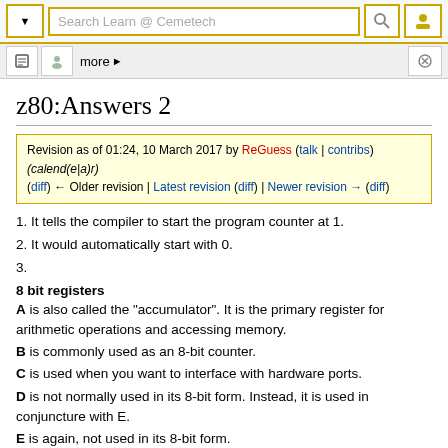Search Learn @ Cemetech (navigation bar)
z80:Answers 2
Revision as of 01:24, 10 March 2017 by ReGuess (talk | contribs) (calend(e|a)r) (diff) ← Older revision | Latest revision (diff) | Newer revision → (diff)
1. It tells the compiler to start the program counter at 1.
2. It would automatically start with 0.
3.
8 bit registers
A is also called the "accumulator". It is the primary register for arithmetic operations and accessing memory.
B is commonly used as an 8-bit counter.
C is used when you want to interface with hardware ports.
D is not normally used in its 8-bit form. Instead, it is used in conjuncture with E.
E is again, not used in its 8-bit form.
F is known as the flags. It is the one register you cannot mess with on the byte level. It's uses will be discussed later in the Flags and Bit Level Instructions Section.